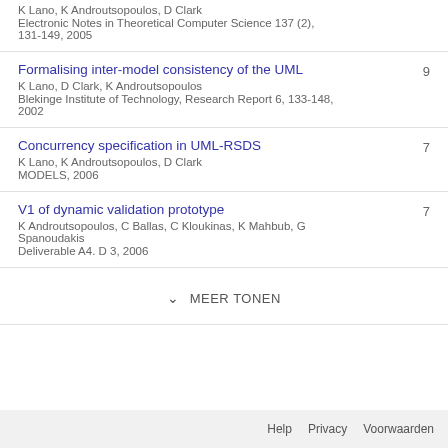K Lano, K Androutsopoulos, D Clark
Electronic Notes in Theoretical Computer Science 137 (2), 131-149, 2005
Formalising inter-model consistency of the UML
K Lano, D Clark, K Androutsopoulos
Blekinge Institute of Technology, Research Report 6, 133-148, 2002
9
Concurrency specification in UML-RSDS
K Lano, K Androutsopoulos, D Clark
MODELS, 2006
7
V1 of dynamic validation prototype
K Androutsopoulos, C Ballas, C Kloukinas, K Mahbub, G Spanoudakis
Deliverable A4. D 3, 2006
7
MEER TONEN
Help   Privacy   Voorwaarden